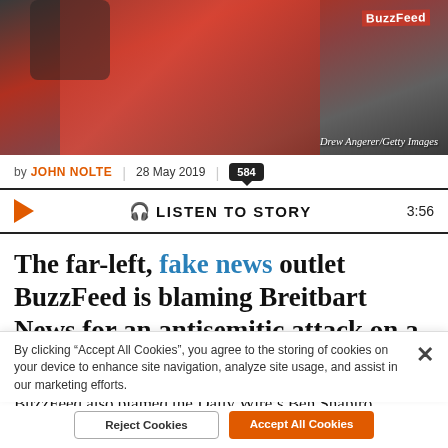[Figure (photo): Person wearing a red BuzzFeed vest with fist raised, holding papers. Photo credit: Drew Angerer/Getty Images]
by JOHN NOLTE | 28 May 2019 | 584
LISTEN TO STORY 3:56
The far-left, fake news outlet BuzzFeed is blaming Breitbart News for an antisemitic attack on a Jewish synagogue.
BuzzFeed also blamed the Daily Wire's Ben Shapiro.
By clicking "Accept All Cookies", you agree to the storing of cookies on your device to enhance site navigation, analyze site usage, and assist in our marketing efforts.